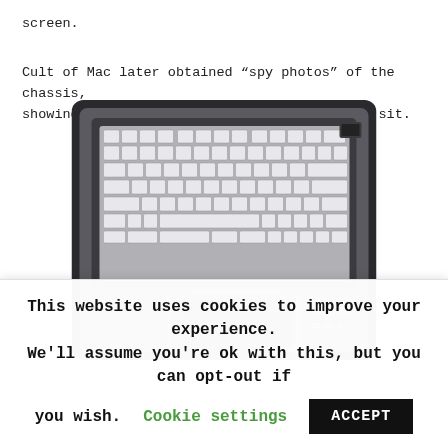screen.
Cult of Mac later obtained “spy photos” of the chassis, showing off where the OLED touchscreen will sit.
[Figure (photo): A MacBook chassis (top case) photographed from above, showing the keyboard area with white/silver keys arranged in rows, and a trackpad cutout below. The image has a 'Cult of Mac' watermark in the lower right corner.]
This website uses cookies to improve your experience. We'll assume you're ok with this, but you can opt-out if you wish. Cookie settings ACCEPT